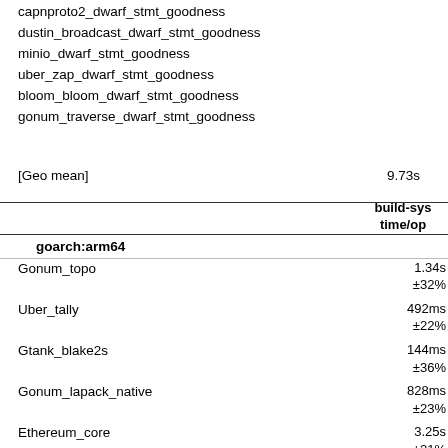capnproto2_dwarf_stmt_goodness
dustin_broadcast_dwarf_stmt_goodness
minio_dwarf_stmt_goodness
uber_zap_dwarf_stmt_goodness
bloom_bloom_dwarf_stmt_goodness
gonum_traverse_dwarf_stmt_goodness
[Geo mean]   9.73s
|  | build-sys time/op |
| --- | --- |
| goarch:arm64 |  |
| Gonum_topo | 1.34s ±32% |
| Uber_tally | 492ms ±22% |
| Gtank_blake2s | 144ms ±36% |
| Gonum_lapack_native | 828ms ±23% |
| Ethereum_core | 3.25s ±21% |
| Klauspost | 121ms ±37% |
|  | 169ms |